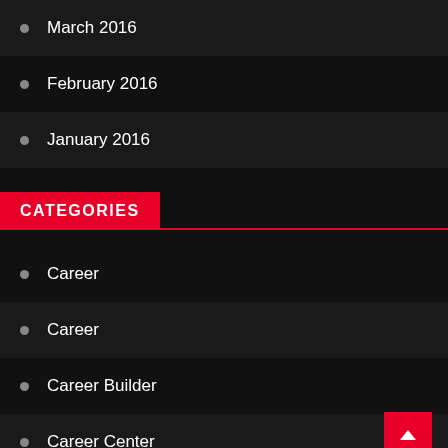March 2016
February 2016
January 2016
CATEGORIES
Career
Career
Career Builder
Career Center